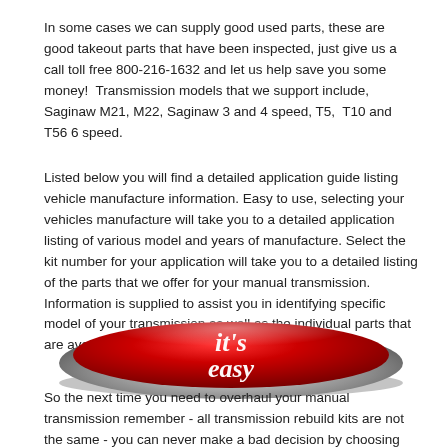In some cases we can supply good used parts, these are good takeout parts that have been inspected, just give us a call toll free 800-216-1632 and let us help save you some money!  Transmission models that we support include, Saginaw M21, M22, Saginaw 3 and 4 speed, T5,  T10 and T56 6 speed.
Listed below you will find a detailed application guide listing vehicle manufacture information. Easy to use, selecting your vehicles manufacture will take you to a detailed application listing of various model and years of manufacture. Select the kit number for your application will take you to a detailed listing of the parts that we offer for your manual transmission. Information is supplied to assist you in identifying specific model of your transmission as well as the individual parts that are available to assist you with your rebuilding efforts.
[Figure (illustration): A large red oval button with a chrome/metallic border, showing the text "it's easy" in white italic script font.]
So the next time you need to overhaul your manual transmission remember - all transmission rebuild kits are not the same - you can never make a bad decision by choosing the best. Select you Chevrolet vehicle model from the